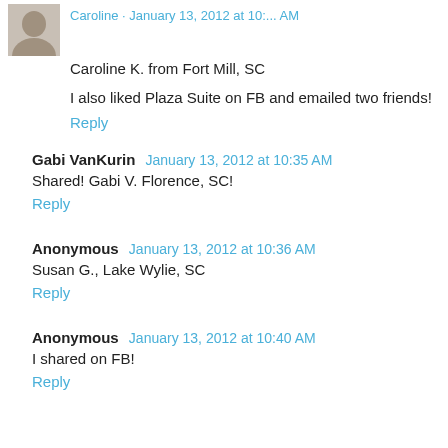Caroline · January 13, 2012 at 10:... AM
Caroline K. from Fort Mill, SC
I also liked Plaza Suite on FB and emailed two friends!
Reply
Gabi VanKurin  January 13, 2012 at 10:35 AM
Shared! Gabi V. Florence, SC!
Reply
Anonymous  January 13, 2012 at 10:36 AM
Susan G., Lake Wylie, SC
Reply
Anonymous  January 13, 2012 at 10:40 AM
I shared on FB!
Reply